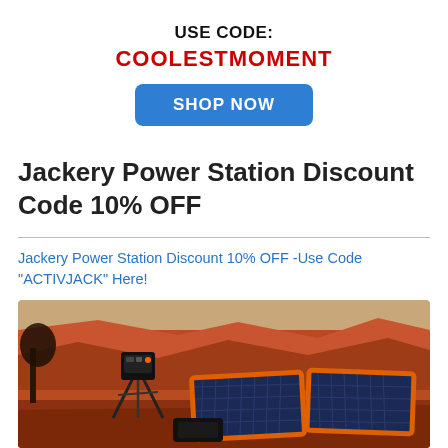USE CODE:
COOLESTMOMENT
SHOP NOW
Jackery Power Station Discount Code 10% OFF
Jackery Power Station Discount 10% OFF -Use Code “ACTIVJACK” Here!
[Figure (photo): Jackery portable power station on a tripod stand next to folded solar panels, set in a desert landscape with red rock cliffs and sparse vegetation in the background.]